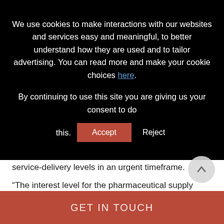We use cookies to make interactions with our websites and services easy and meaningful, to better understand how they are used and to tailor advertising. You can read more and make your cookie choices here.
By continuing to use this site you are giving us your consent to do this.
service-delivery levels in an urgent timeframe.
“The interest level for the pharmaceutical supply chain in blockchain would encompass tracking whichever components they need to
GET IN TOUCH